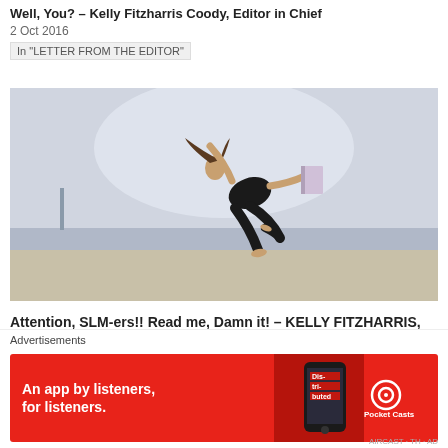Well, You? – Kelly Fitzharris Coody, Editor in Chief
2 Oct 2016
In "LETTER FROM THE EDITOR"
[Figure (photo): Woman in black athletic wear jumping/levitating at a beach, holding a book, with water and sky in background]
Attention, SLM-ers!! Read me, Damn it! – KELLY FITZHARRIS, Editor-in-Chief
24 Jan 2017
In "LETTER FROM THE EDITOR"
Advertisements
[Figure (other): Red Pocket Casts advertisement banner reading 'An app by listeners, for listeners.' with podcast app graphic and Pocket Casts logo]